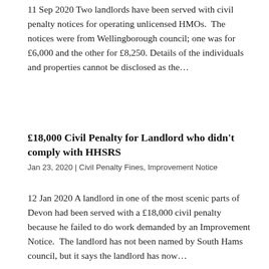11 Sep 2020 Two landlords have been served with civil penalty notices for operating unlicensed HMOs. The notices were from Wellingborough council; one was for £6,000 and the other for £8,250. Details of the individuals and properties cannot be disclosed as the...
£18,000 Civil Penalty for Landlord who didn't comply with HHSRS
Jan 23, 2020 | Civil Penalty Fines, Improvement Notice
12 Jan 2020 A landlord in one of the most scenic parts of Devon had been served with a £18,000 civil penalty because he failed to do work demanded by an Improvement Notice. The landlord has not been named by South Hams council, but it says the landlord has now...